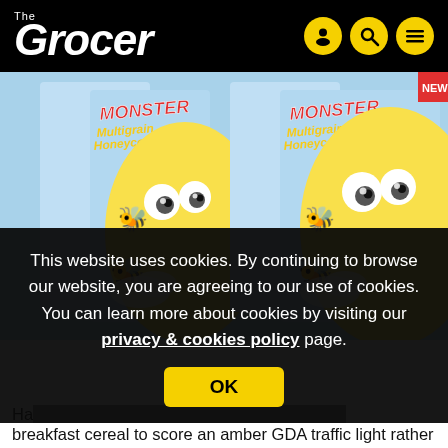The Grocer
[Figure (photo): Monster Multigrain Honeycomb cereal boxes shown twice side by side with cartoon monster character on blue background]
This website uses cookies. By continuing to browse our website, you are agreeing to our use of cookies. You can learn more about cookies by visiting our privacy & cookies policy page.
OK
Ha... breakfast cereal to score an amber GDA traffic light rather